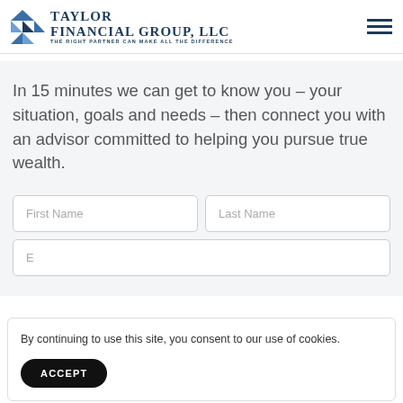Taylor Financial Group, LLC — The Right Partner Can Make All The Difference
In 15 minutes we can get to know you – your situation, goals and needs – then connect you with an advisor committed to helping you pursue true wealth.
First Name
Last Name
By continuing to use this site, you consent to our use of cookies.
ACCEPT